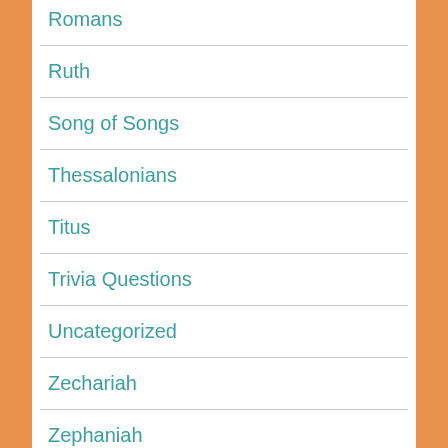Romans
Ruth
Song of Songs
Thessalonians
Titus
Trivia Questions
Uncategorized
Zechariah
Zephaniah